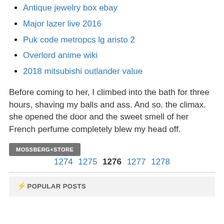Antique jewelry box ebay
Major lazer live 2016
Puk code metropcs lg aristo 2
Overlord anime wiki
2018 mitsubishi outlander value
Before coming to her, I climbed into the bath for three hours, shaving my balls and ass. And so. the climax. she opened the door and the sweet smell of her French perfume completely blew my head off.
MOSSBERG+STORE  1274  1275  1276  1277  1278
⚡POPULAR POSTS